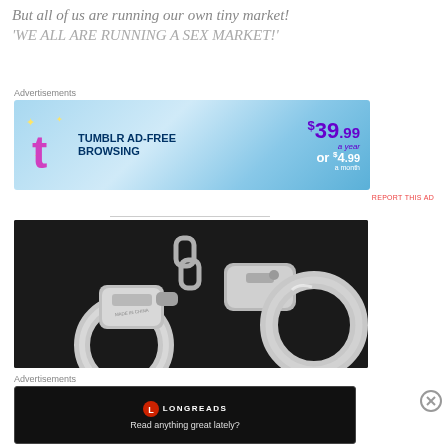But all of us are running our own tiny market!
'WE ALL ARE RUNNING A SEX MARKET!'
Advertisements
[Figure (screenshot): Tumblr Ad-Free Browsing advertisement banner showing $39.99 a year or $4.99 a month]
[Figure (photo): Close-up photograph of silver metal handcuffs on a dark background]
Advertisements
[Figure (screenshot): Longreads advertisement with tagline 'Read anything great lately?' on black background]